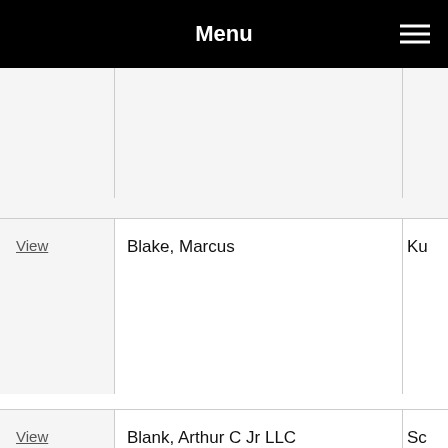Menu
| Action | Name | Party |
| --- | --- | --- |
|  |  |  |
| View | Blake, Marcus | Ku… |
| View | Blank, Arthur C Jr LLC | Sc… |